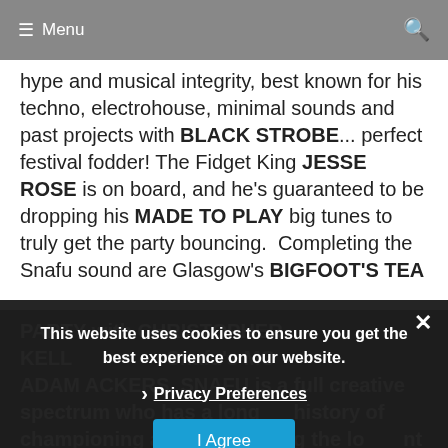≡ Menu
hype and musical integrity, best known for his techno, electrohouse, minimal sounds and past projects with BLACK STROBE... perfect festival fodder! The Fidget King JESSE ROSE is on board, and he's guaranteed to be dropping his MADE TO PLAY big tunes to truly get the party bouncing.  Completing the Snafu sound are Glasgow's BIGFOOT'S TEA PARTY with CHRISTOPHER KELLY Snafu's MO... and not least ADAM ACKERS. SNAFU is a full creative spectrum who has a long history of championing and showcasing the local talent and booking big name guests so watch this space as they
This website uses cookies to ensure you get the best experience on our website.
Privacy Preferences
I Agree